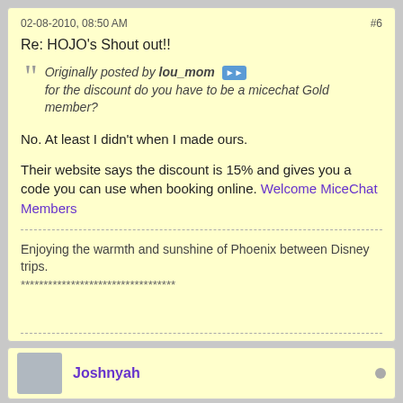02-08-2010, 08:50 AM   #6
Re: HOJO's Shout out!!
Originally posted by lou_mom
for the discount do you have to be a micechat Gold member?
No. At least I didn't when I made ours.
Their website says the discount is 15% and gives you a code you can use when booking online. Welcome MiceChat Members
Enjoying the warmth and sunshine of Phoenix between Disney trips.
**********************************
Joshnyah